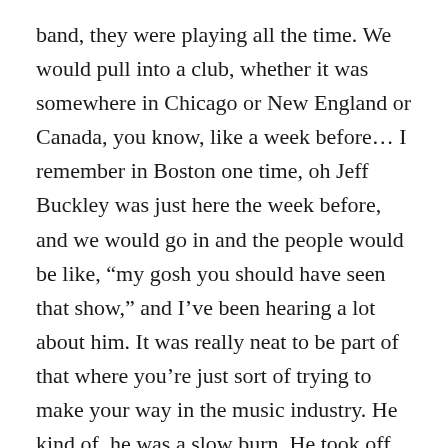band, they were playing all the time. We would pull into a club, whether it was somewhere in Chicago or New England or Canada, you know, like a week before… I remember in Boston one time, oh Jeff Buckley was just here the week before, and we would go in and the people would be like, “my gosh you should have seen that show,” and I’ve been hearing a lot about him. It was really neat to be part of that where you’re just sort of trying to make your way in the music industry. He kind of, he was a slow burn. He took off after a while. The label really liked him a lot and made him one of those, sort of, heritage artists. I always dug him. I mean, the first time I heard him live, I was at Penn State playing a gig and the video of “Grace” came on and my jaw hit the ground. I’m like “what the hell is this?” And